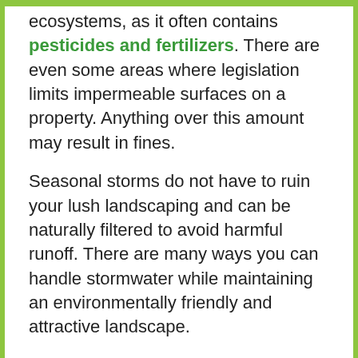ecosystems, as it often contains pesticides and fertilizers. There are even some areas where legislation limits impermeable surfaces on a property. Anything over this amount may result in fines.
Seasonal storms do not have to ruin your lush landscaping and can be naturally filtered to avoid harmful runoff. There are many ways you can handle stormwater while maintaining an environmentally friendly and attractive landscape.
Create Berms and Swales